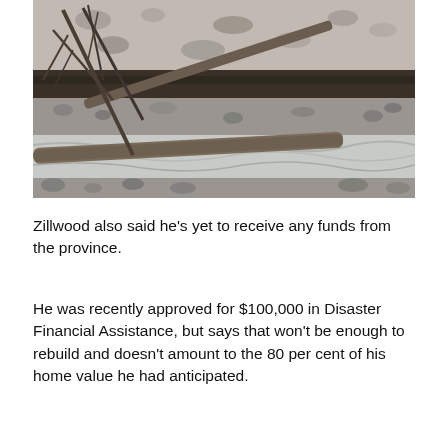[Figure (photo): Photo of a flood or landslide scene showing fallen logs, bare branches, rocky riverbed with grey gravel and boulders, rushing water, and eroded dark soil embankment in the background.]
Zillwood also said he's yet to receive any funds from the province.
He was recently approved for $100,000 in Disaster Financial Assistance, but says that won't be enough to rebuild and doesn't amount to the 80 per cent of his home value he had anticipated.